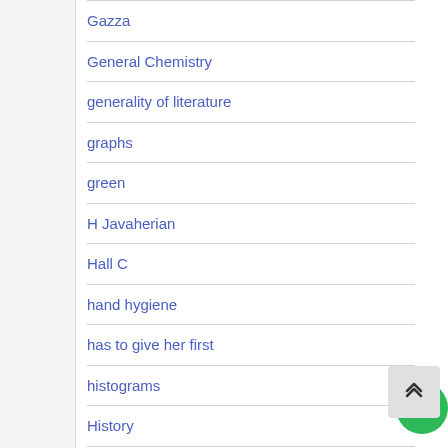Gazza
General Chemistry
generality of literature
graphs
green
H Javaherian
Hall C
hand hygiene
has to give her first
histograms
History
how many people
Human Resource Management